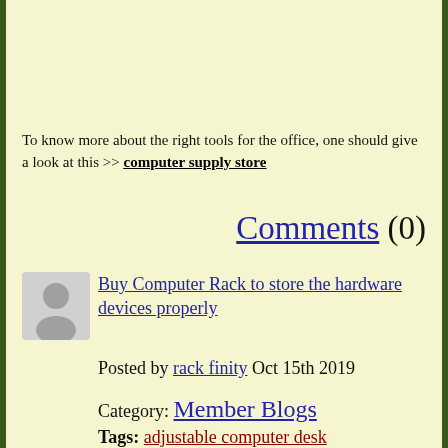To know more about the right tools for the office, one should give a look at this >> computer supply store
Comments (0)
[Figure (illustration): Grey avatar/user silhouette icon]
Buy Computer Rack to store the hardware devices properly
Posted by rack finity Oct 15th 2019
Category: Member Blogs
Tags: adjustable computer desk Computer Supply Store buy computer rack
The Computer Supply Store is the best place where customers can find office equipment such as computer desk, cabinets for servers...